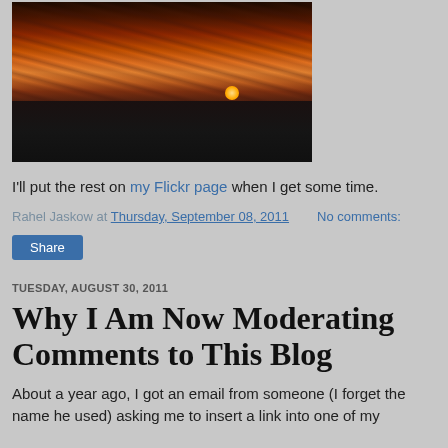[Figure (photo): Sunset over ocean/sea with clouds, sun near horizon, waves in foreground]
I'll put the rest on my Flickr page when I get some time.
Rahel Jaskow at Thursday, September 08, 2011   No comments:
Share
TUESDAY, AUGUST 30, 2011
Why I Am Now Moderating Comments to This Blog
About a year ago, I got an email from someone (I forget the name he used) asking me to insert a link into one of my